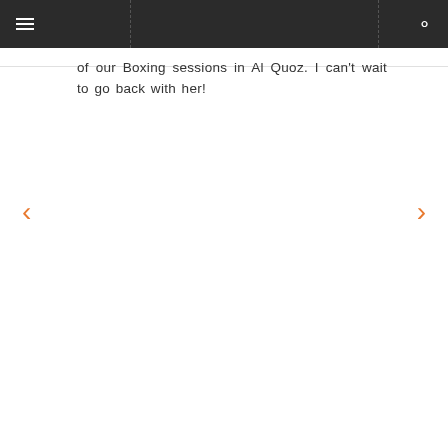Navigation bar with hamburger menu and search icon
of our Boxing sessions in Al Quoz. I can't wait to go back with her!